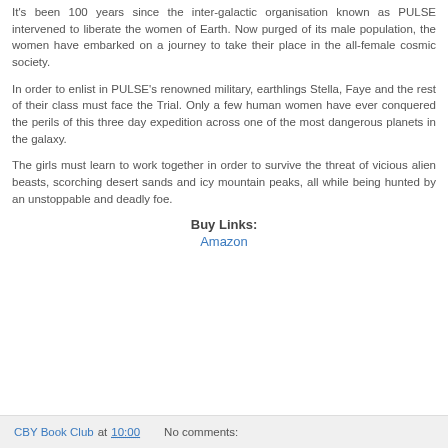It's been 100 years since the inter-galactic organisation known as PULSE intervened to liberate the women of Earth. Now purged of its male population, the women have embarked on a journey to take their place in the all-female cosmic society.
In order to enlist in PULSE's renowned military, earthlings Stella, Faye and the rest of their class must face the Trial. Only a few human women have ever conquered the perils of this three day expedition across one of the most dangerous planets in the galaxy.
The girls must learn to work together in order to survive the threat of vicious alien beasts, scorching desert sands and icy mountain peaks, all while being hunted by an unstoppable and deadly foe.
Buy Links:
Amazon
CBY Book Club at 10:00   No comments: